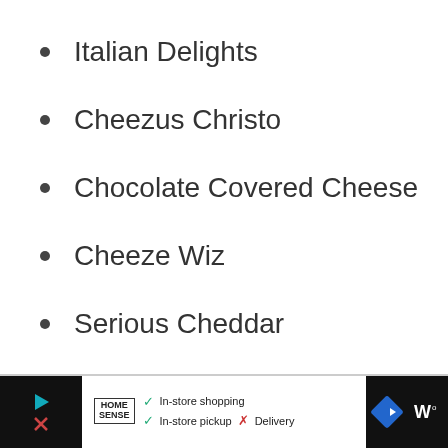Italian Delights
Cheezus Christo
Chocolate Covered Cheese
Cheeze Wiz
Serious Cheddar
In-store shopping  In-store pickup  ✗ Delivery